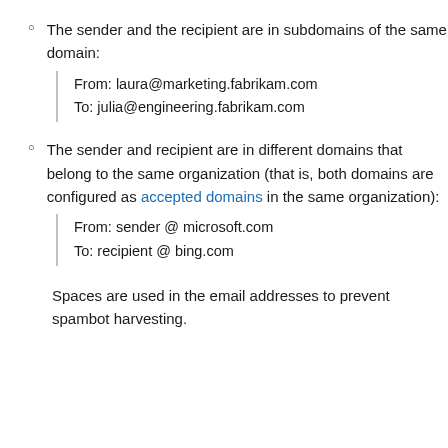The sender and the recipient are in subdomains of the same domain:
From: laura@marketing.fabrikam.com
To: julia@engineering.fabrikam.com
The sender and recipient are in different domains that belong to the same organization (that is, both domains are configured as accepted domains in the same organization):
From: sender @ microsoft.com
To: recipient @ bing.com
Spaces are used in the email addresses to prevent spambot harvesting.